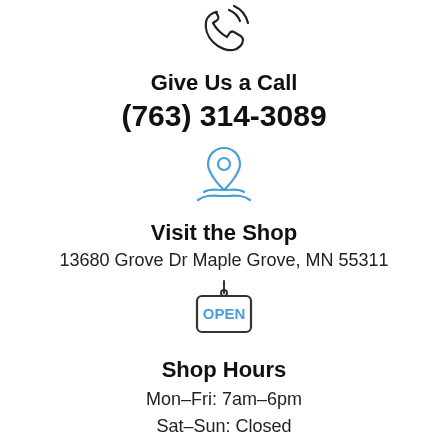[Figure (illustration): Phone/call icon outline in dark gray/black at top]
Give Us a Call
(763) 314-3089
[Figure (illustration): Location pin / map icon in blue]
Visit the Shop
13680 Grove Dr Maple Grove, MN 55311
[Figure (illustration): Open sign hanging icon in light blue and black outline]
Shop Hours
Mon-Fri: 7am-6pm
Sat-Sun: Closed
[Figure (illustration): Chat/speech bubble icon at bottom, partially visible]